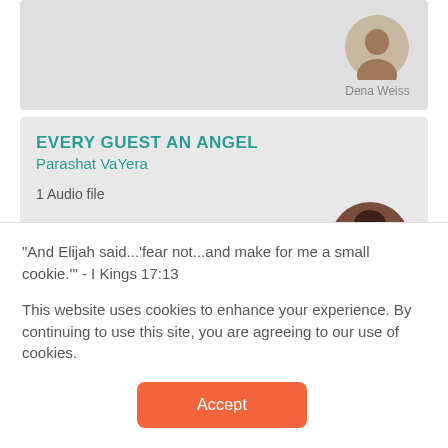Dena Weiss
EVERY GUEST AN ANGEL
Parashat VaYera
1 Audio file
[Figure (photo): Circular avatar photo of a woman with curly dark hair]
"And Elijah said...'fear not...and make for me a small cookie.'" - I Kings 17:13
This website uses cookies to enhance your experience. By continuing to use this site, you are agreeing to our use of cookies.
Accept